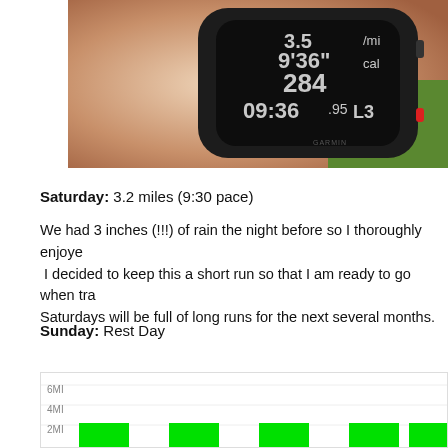[Figure (photo): Close-up photo of a GPS running watch (Garmin) on a wrist, showing workout stats: 9'36", /mi, cal, 284, 09:36.95 L3. Red LED sensor visible on back of watch.]
Saturday: 3.2 miles (9:30 pace)
We had 3 inches (!!!) of rain the night before so I thoroughly enjoyed. I decided to keep this a short run so that I am ready to go when tra. Saturdays will be full of long runs for the next several months.
Sunday: Rest Day
[Figure (bar-chart): Bar chart showing weekly running mileage with green bars. Y-axis shows 2MI, 4MI, 6MI gridlines. Multiple bars visible at approximately 2-3 mile range.]